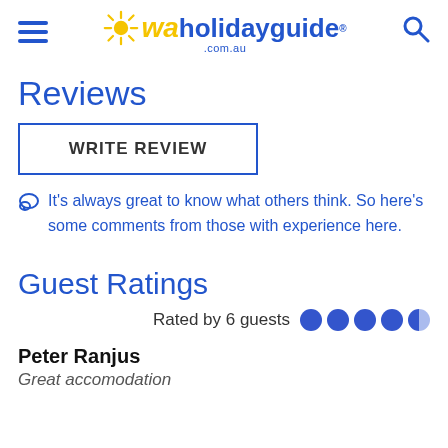waholidayguide .com.au
Reviews
WRITE REVIEW
It's always great to know what others think. So here's some comments from those with experience here.
Guest Ratings
Rated by 6 guests
Peter Ranjus
Great accomodation